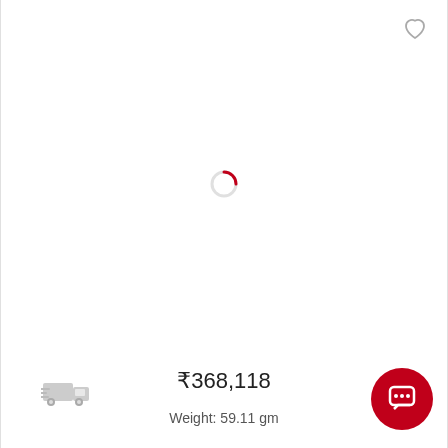[Figure (illustration): Heart/wishlist icon in top right corner (outline style, gray)]
[Figure (illustration): Red circular loading spinner in center of page]
₹368,118
Weight: 59.11 gm
[Figure (illustration): Gray delivery truck icon on lower left]
[Figure (illustration): Red circular chat/message button on lower right corner]